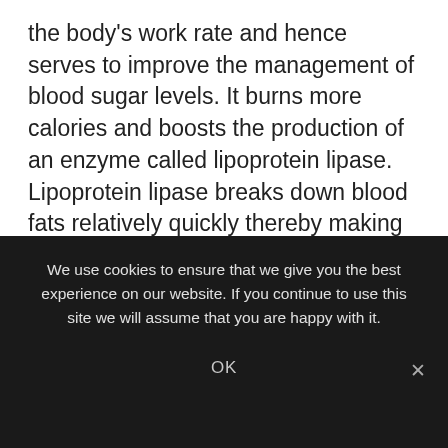the body's work rate and hence serves to improve the management of blood sugar levels. It burns more calories and boosts the production of an enzyme called lipoprotein lipase. Lipoprotein lipase breaks down blood fats relatively quickly thereby making them available as a fuel to the muscles. Without it that fat is stored in the body with serious implication. In short, this is why gentle exercise is so effective in countering chronic conditions such as heart disease.
Depending on the golf course you find yourself playing on… and how directly you proceed along its fairways… a
We use cookies to ensure that we give you the best experience on our website. If you continue to use this site we will assume that you are happy with it.
OK